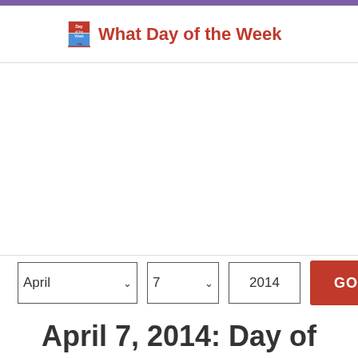What Day of the Week
[Figure (screenshot): Advertisement / empty ad area in the main content region]
April  7  2014  GO
April 7, 2014: Day of